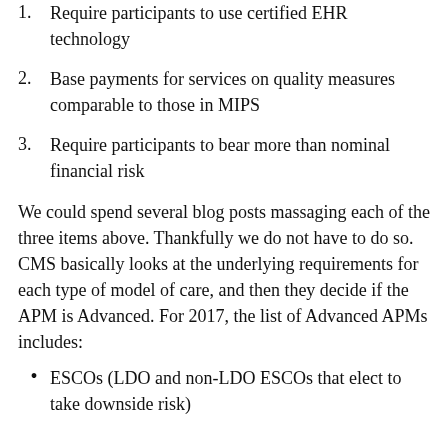1. Require participants to use certified EHR technology
2. Base payments for services on quality measures comparable to those in MIPS
3. Require participants to bear more than nominal financial risk
We could spend several blog posts massaging each of the three items above. Thankfully we do not have to do so. CMS basically looks at the underlying requirements for each type of model of care, and then they decide if the APM is Advanced. For 2017, the list of Advanced APMs includes:
ESCOs (LDO and non-LDO ESCOs that elect to take downside risk)